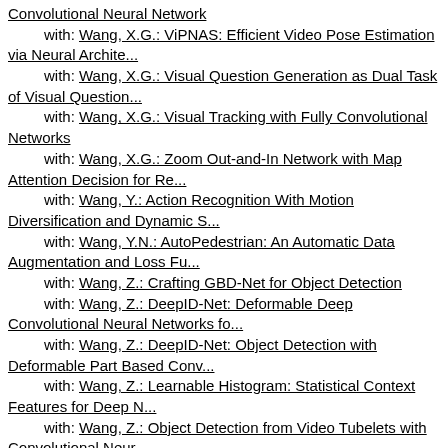Convolutional Neural Network
with: Wang, X.G.: ViPNAS: Efficient Video Pose Estimation via Neural Archite...
with: Wang, X.G.: Visual Question Generation as Dual Task of Visual Question...
with: Wang, X.G.: Visual Tracking with Fully Convolutional Networks
with: Wang, X.G.: Zoom Out-and-In Network with Map Attention Decision for Re...
with: Wang, Y.: Action Recognition With Motion Diversification and Dynamic S...
with: Wang, Y.N.: AutoPedestrian: An Automatic Data Augmentation and Loss Fu...
with: Wang, Z.: Crafting GBD-Net for Object Detection
with: Wang, Z.: DeepID-Net: Deformable Deep Convolutional Neural Networks fo...
with: Wang, Z.: DeepID-Net: Object Detection with Deformable Part Based Conv...
with: Wang, Z.: Learnable Histogram: Statistical Context Features for Deep N...
with: Wang, Z.: Object Detection from Video Tubelets with Convolutional Neur...
with: Wang, Z.: T-CNN: Tubelets With Convolutional Neural Networks for Objec...
with: Wang, Z.: Temporal-Channel Transformer for 3D